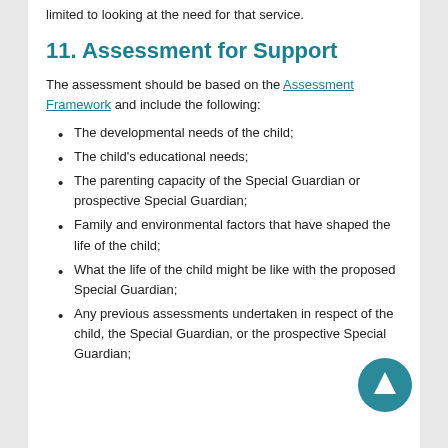limited to looking at the need for that service.
11. Assessment for Support
The assessment should be based on the Assessment Framework and include the following:
The developmental needs of the child;
The child's educational needs;
The parenting capacity of the Special Guardian or prospective Special Guardian;
Family and environmental factors that have shaped the life of the child;
What the life of the child might be like with the proposed Special Guardian;
Any previous assessments undertaken in respect of the child, the Special Guardian, or the prospective Special Guardian;